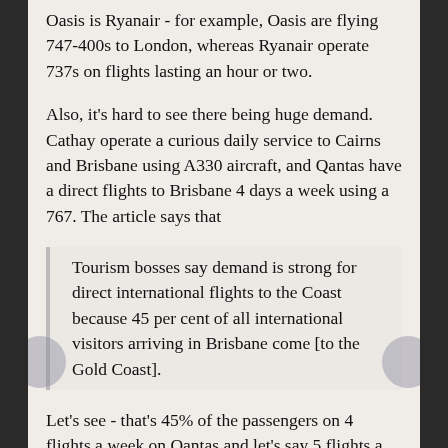Oasis is Ryanair - for example, Oasis are flying 747-400s to London, whereas Ryanair operate 737s on flights lasting an hour or two.
Also, it's hard to see there being huge demand. Cathay operate a curious daily service to Cairns and Brisbane using A330 aircraft, and Qantas have a direct flights to Brisbane 4 days a week using a 767. The article says that
Tourism bosses say demand is strong for direct international flights to the Coast because 45 per cent of all international visitors arriving in Brisbane come [to the Gold Coast].
Let's see - that's 45% of the passengers on 4 flights a week on Qantas and let's say 5 flights a week on Cathay. That's not enough to fill a 747...